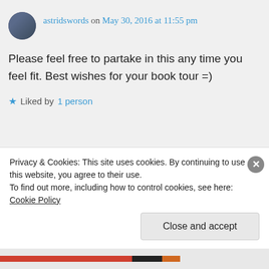astridswords on May 30, 2016 at 11:55 pm
Please feel free to partake in this any time you feel fit. Best wishes for your book tour =)
Liked by 1 person
Privacy & Cookies: This site uses cookies. By continuing to use this website, you agree to their use.
To find out more, including how to control cookies, see here: Cookie Policy
Close and accept